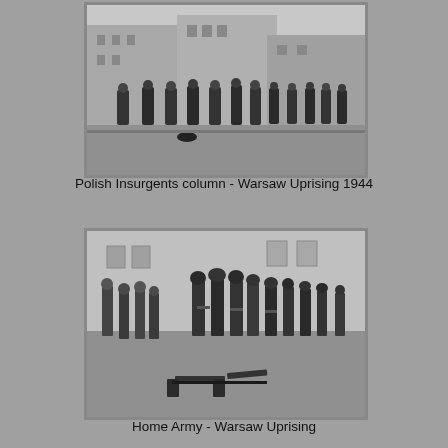[Figure (photo): Black and white photograph of Polish insurgents marching in a column through a Warsaw street during the Warsaw Uprising 1944]
Polish Insurgents column - Warsaw Uprising 1944
[Figure (photo): Black and white photograph of Home Army soldiers standing in formation during the Warsaw Uprising]
Home Army - Warsaw Uprising